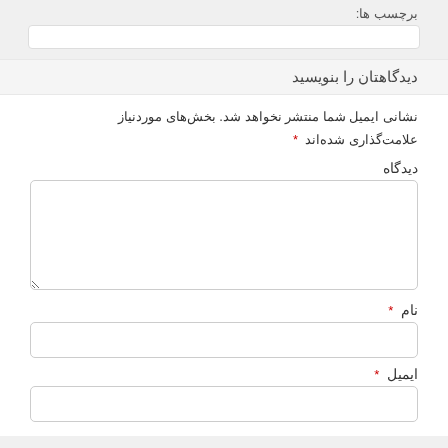برچسب ها:
دیدگاهتان را بنویسید
نشانی ایمیل شما منتشر نخواهد شد. بخش‌های موردنیاز علامت‌گذاری شده‌اند *
دیدگاه
نام *
ایمیل *